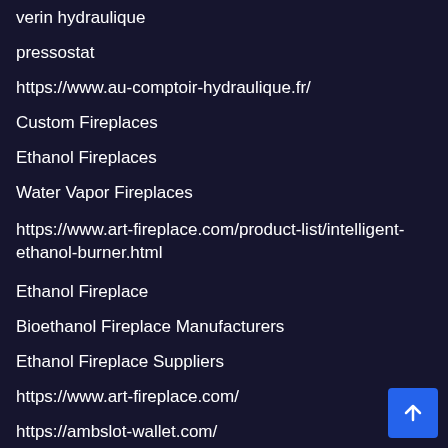verin hydraulique
pressostat
https://www.au-comptoir-hydraulique.fr/
Custom Fireplaces
Ethanol Fireplaces
Water Vapor Fireplaces
https://www.art-fireplace.com/product-list/intelligent-ethanol-burner.html
Ethanol Fireplace
Bioethanol Fireplace Manufacturers
Ethanol Fireplace Suppliers
https://www.art-fireplace.com/
https://ambslot-wallet.com/
https://podceleb.com/vmc/
https://lolindasf.org/